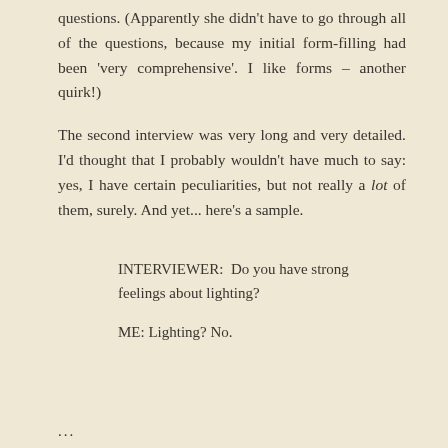questions. (Apparently she didn't have to go through all of the questions, because my initial form-filling had been 'very comprehensive'. I like forms – another quirk!)
The second interview was very long and very detailed. I'd thought that I probably wouldn't have much to say: yes, I have certain peculiarities, but not really a lot of them, surely. And yet... here's a sample.
INTERVIEWER: Do you have strong feelings about lighting?
ME: Lighting? No.
...